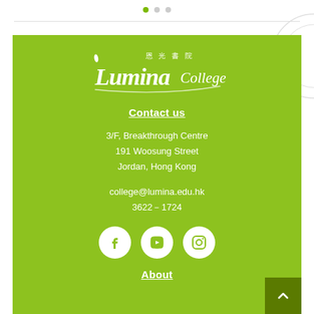[Figure (other): Three pagination dots at top center, first dot active (green), two inactive (gray)]
[Figure (logo): Lumina College logo with Chinese characters 恩光書院 in white on green background]
Contact us
3/F, Breakthrough Centre
191 Woosung Street
Jordan, Hong Kong
college@lumina.edu.hk
3622-1724
[Figure (other): Three social media icons: Facebook, YouTube, Instagram — white circles on green background]
About